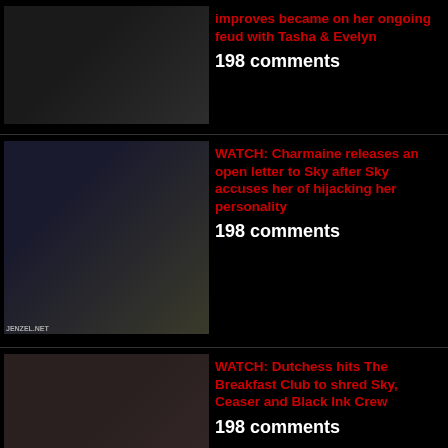improves became on her ongoing feud with Tasha & Evelyn
198 comments
WATCH: Charmaine releases an open letter to Sky after Sky accuses her of hijacking her personality
198 comments
WATCH: Dutchess hits The Breakfast Club to shred Sky, Ceaser and Black Ink Crew
198 comments
WATCH: Charlamagne Tha God gets ambushed by transsexuals in protest of The Breakfast Club
197 comments
WATCH: Get a first look at The Real Sidechicks Of Charlotte reality series
194 comments
WATCH: ...